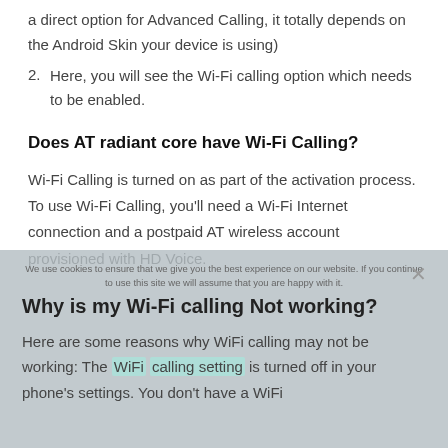a direct option for Advanced Calling, it totally depends on the Android Skin your device is using)
2. Here, you will see the Wi-Fi calling option which needs to be enabled.
Does AT radiant core have Wi-Fi Calling?
Wi-Fi Calling is turned on as part of the activation process. To use Wi-Fi Calling, you'll need a Wi-Fi Internet connection and a postpaid AT wireless account provisioned with HD Voice.
Why is my Wi-Fi calling Not working?
Here are some reasons why WiFi calling may not be working: The WiFi calling setting is turned off in your phone's settings. You don't have a WiFi
We use cookies to ensure that we give you the best experience on our website. If you continue to use this site we will assume that you are happy with it.